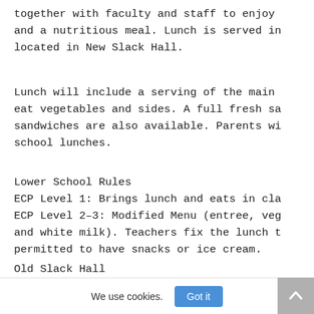together with faculty and staff to enjoy and a nutritious meal. Lunch is served in located in New Slack Hall.
Lunch will include a serving of the main eat vegetables and sides. A full fresh sa sandwiches are also available. Parents wi school lunches.
Lower School Rules
ECP Level 1: Brings lunch and eats in cla ECP Level 2-3: Modified Menu (entree, veg and white milk). Teachers fix the lunch t permitted to have snacks or ice cream.
Old Slack Hall
Hancock Library, Logan Gallery, Fishburn
We use cookies.